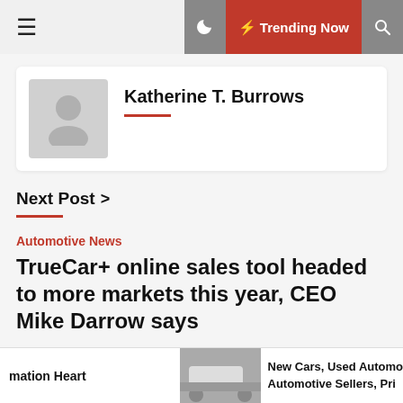☰  ☽  ⚡ Trending Now  🔍
[Figure (photo): Author avatar placeholder with silhouette icon]
Katherine T. Burrows
Next Post ›
Automotive News
TrueCar+ online sales tool headed to more markets this year, CEO Mike Darrow says
mation Heart   New Cars, Used Automo  Automotive Sellers, Pri